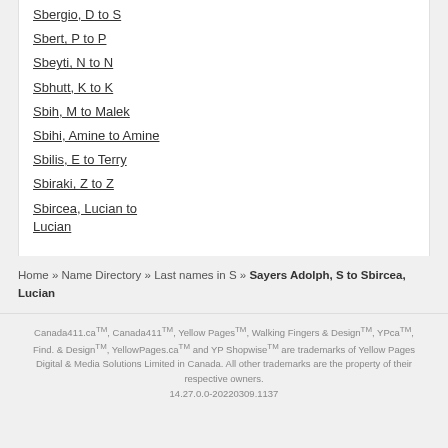Sbergio, D to S
Sbert, P to P
Sbeyti, N to N
Sbhutt, K to K
Sbih, M to Malek
Sbihi, Amine to Amine
Sbilis, E to Terry
Sbiraki, Z to Z
Sbircea, Lucian to Lucian
Home » Name Directory » Last names in S » Sayers Adolph, S to Sbircea, Lucian
Canada411.ca™, Canada411™, Yellow Pages™, Walking Fingers & Design™, YPca™, Find. & Design™, YellowPages.ca™ and YP Shopwise™ are trademarks of Yellow Pages Digital & Media Solutions Limited in Canada. All other trademarks are the property of their respective owners. 14.27.0.0-20220309.1137